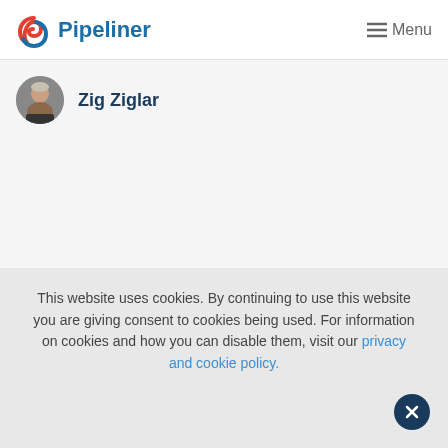Pipeliner | Menu
[Figure (photo): Circular headshot photo of Zig Ziglar, an older man in a suit]
Zig Ziglar
This website uses cookies. By continuing to use this website you are giving consent to cookies being used. For information on cookies and how you can disable them, visit our privacy and cookie policy.